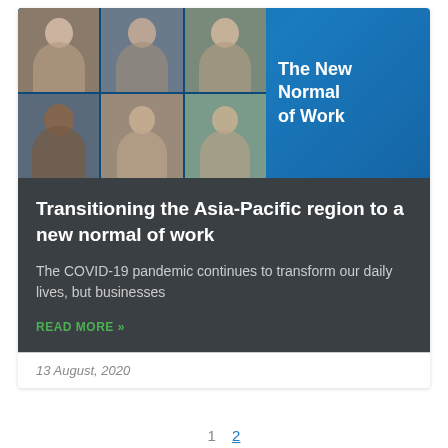[Figure (photo): Video conference screenshot showing 6 participants in a grid layout on a blue banner background, with text 'The New Normal of Work']
Transitioning the Asia-Pacific region to a new normal of work
The COVID-19 pandemic continues to transform our daily lives, but businesses
READ MORE »
13 August, 2020
1  2